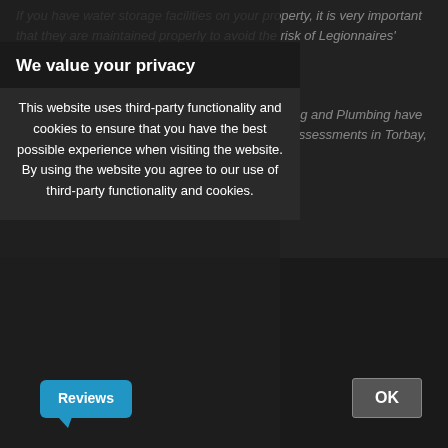If you have water storage facilities on your property, it is very important that they are maintained properly to avoid the risk of Legionnaires' disease.
From our base in Devon, the team at Acoll Heating and Plumbing have 10 years' experience in providing extensive risk assessments in Torbay, Exeter, and the surrounding areas.
Our Gas Safe registered engineers will leave no stone unturned in our assessment of your system, and swiftly act to prevent the risk of Legionnaires' disease ever arising.
We value your privacy
This website uses third-party functionality and cookies to ensure that you have the best possible experience when visiting the website. By using the website you agree to our use of third-party functionality and cookies.
Reviews
OK